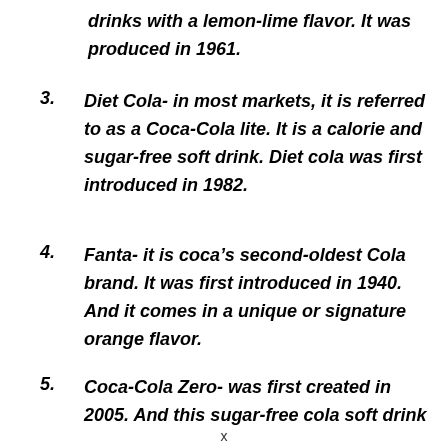drinks with a lemon-lime flavor. It was produced in 1961.
3. Diet Cola- in most markets, it is referred to as a Coca-Cola lite. It is a calorie and sugar-free soft drink. Diet cola was first introduced in 1982.
4. Fanta- it is coca’s second-oldest Cola brand. It was first introduced in 1940. And it comes in a unique or signature orange flavor.
5. Coca-Cola Zero- was first created in 2005. And this sugar-free cola soft drink